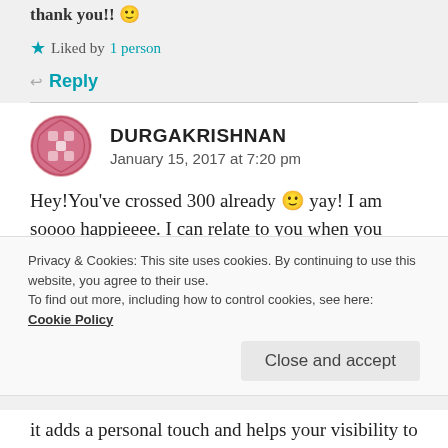thank you!! 🙂
★ Liked by 1 person
Reply
DURGAKRISHNAN
January 15, 2017 at 7:20 pm
Hey!You've crossed 300 already 🙂 yay! I am soooo happieeee. I can relate to you when you compare the number vs the connection we make with people. Keep
Privacy & Cookies: This site uses cookies. By continuing to use this website, you agree to their use.
To find out more, including how to control cookies, see here: Cookie Policy
Close and accept
it adds a personal touch and helps your visibility to